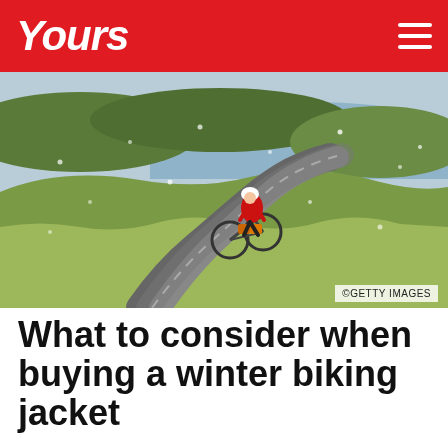Yours
[Figure (photo): A cyclist wearing a red jacket and helmet rides a loaded bicycle along a winding narrow road through moorland. Snow or rain is visible in the air. A lake and green hills are in the background. Photo credit: ©GETTY IMAGES]
What to consider when buying a winter biking jacket
Windproof fabrics